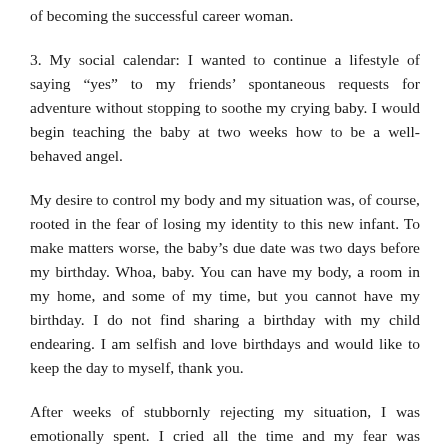of becoming the successful career woman.
3. My social calendar: I wanted to continue a lifestyle of saying “yes” to my friends’ spontaneous requests for adventure without stopping to soothe my crying baby. I would begin teaching the baby at two weeks how to be a well-behaved angel.
My desire to control my body and my situation was, of course, rooted in the fear of losing my identity to this new infant. To make matters worse, the baby’s due date was two days before my birthday. Whoa, baby. You can have my body, a room in my home, and some of my time, but you cannot have my birthday. I do not find sharing a birthday with my child endearing. I am selfish and love birthdays and would like to keep the day to myself, thank you.
After weeks of stubbornly rejecting my situation, I was emotionally spent. I cried all the time and my fear was preventing my husband from feeling any kind of excitement about our third family member. I needed to humble myself, to come before God carrying